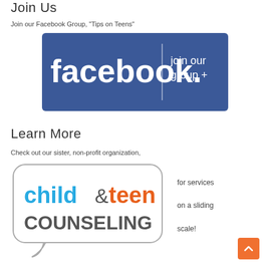Join Us
Join our Facebook Group, "Tips on Teens"
[Figure (logo): Facebook 'join our group +' button banner with blue background, white facebook logo on left and 'join our group +' text on right]
Learn More
Check out our sister, non-profit organization,
[Figure (logo): Child & Teen Counseling logo inside a speech bubble outline — 'child' in blue, '&' in gray, 'teen' in orange, 'COUNSELING' in dark gray]
for services on a sliding scale!